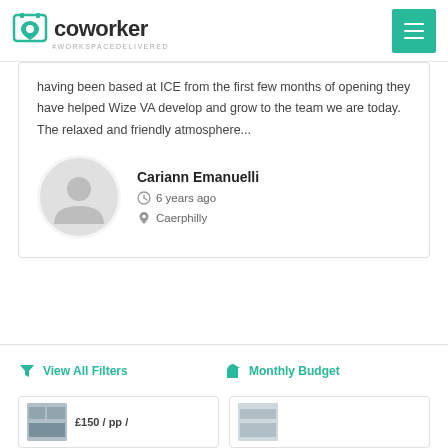coworker #WORKSPACEDELIVERED
having been based at ICE from the first few months of opening they have helped Wize VA develop and grow to the team we are today. The relaxed and friendly atmosphere...
Cariann Emanuelli
6 years ago
Caerphilly
View All Filters
Monthly Budget
£150 / pp /